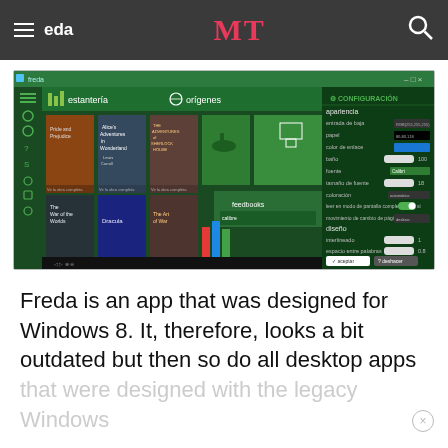≡ Freda   MT   🔍
[Figure (screenshot): Screenshot of the Freda e-reader application for Windows 8, showing a library view with book covers including Alice's Adventures in Wonderland, Pride and Prejudice, The War of the Worlds, Dracula, and The Art of War. On the right side a green CONFIGURACIÓN (configuration) panel is visible with settings for apariencia (appearance), diseño (design), paper color, font size, and other reading options.]
Freda is an app that was designed for Windows 8. It, therefore, looks a bit outdated but then so do all desktop apps that were designed with the legacy Windows